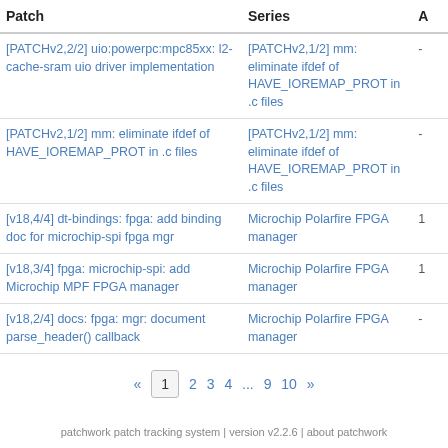| Patch | Series | A |
| --- | --- | --- |
| [PATCHv2,2/2] uio:powerpc:mpc85xx: l2-cache-sram uio driver implementation | [PATCHv2,1/2] mm: eliminate ifdef of HAVE_IOREMAP_PROT in .c files | - |
| [PATCHv2,1/2] mm: eliminate ifdef of HAVE_IOREMAP_PROT in .c files | [PATCHv2,1/2] mm: eliminate ifdef of HAVE_IOREMAP_PROT in .c files | - |
| [v18,4/4] dt-bindings: fpga: add binding doc for microchip-spi fpga mgr | Microchip Polarfire FPGA manager | 1 |
| [v18,3/4] fpga: microchip-spi: add Microchip MPF FPGA manager | Microchip Polarfire FPGA manager | 1 |
| [v18,2/4] docs: fpga: mgr: document parse_header() callback | Microchip Polarfire FPGA manager | - |
« 1 2 3 4 ... 9 10 »
patchwork patch tracking system | version v2.2.6 | about patchwork